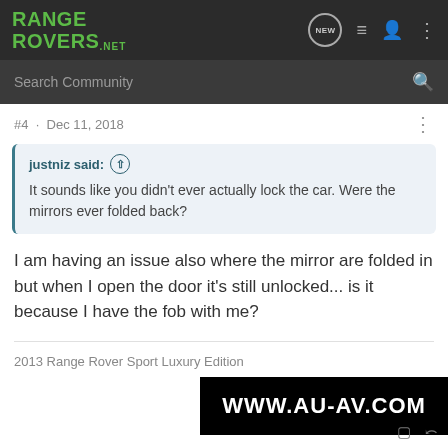RANGE ROVERS .NET
Search Community
#4 · Dec 11, 2018
justniz said: ↑
It sounds like you didn't ever actually lock the car. Were the mirrors ever folded back?
I am having an issue also where the mirror are folded in but when I open the door it's still unlocked... is it because I have the fob with me?
2013 Range Rover Sport Luxury Edition
[Figure (screenshot): Advertisement banner showing WWW.AU-AV.COM in white bold text on black starfield background]